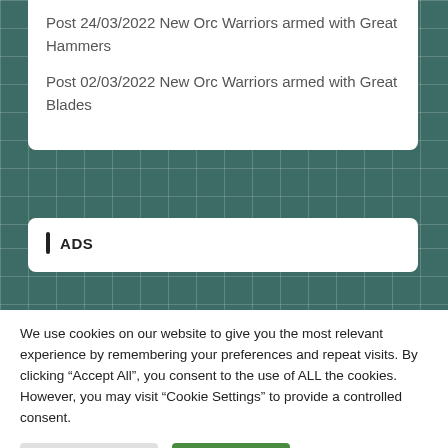Post 24/03/2022 New Orc Warriors armed with Great Hammers
Post 02/03/2022 New Orc Warriors armed with Great Blades
ADS
We use cookies on our website to give you the most relevant experience by remembering your preferences and repeat visits. By clicking “Accept All”, you consent to the use of ALL the cookies. However, you may visit “Cookie Settings” to provide a controlled consent.